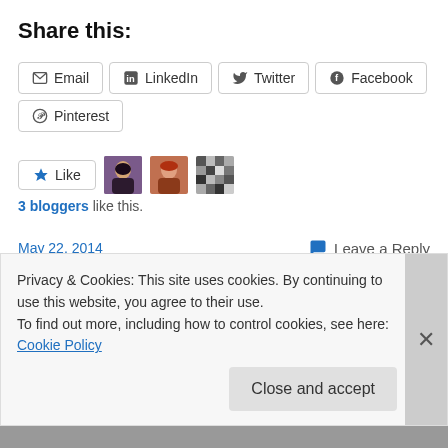Share this:
Email  LinkedIn  Twitter  Facebook  Pinterest
[Figure (other): Like button with star icon and three blogger avatar thumbnails]
3 bloggers like this.
May 22, 2014    💬 Leave a Reply
Truth, Justice and the
Privacy & Cookies: This site uses cookies. By continuing to use this website, you agree to their use.
To find out more, including how to control cookies, see here: Cookie Policy
Close and accept